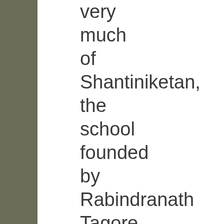very much of Shantiniketan, the school founded by Rabindranath Tagore, with its beautiful trees and serene setting. Leela Samson, the director of Kalakshetra and